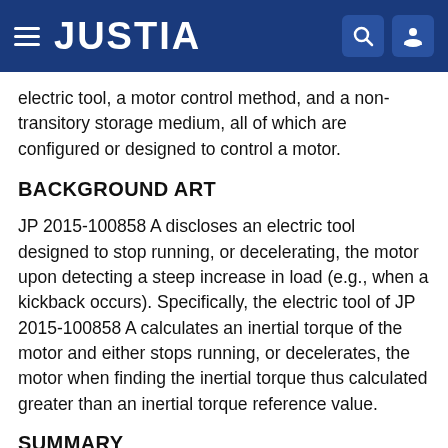JUSTIA
electric tool, a motor control method, and a non-transitory storage medium, all of which are configured or designed to control a motor.
BACKGROUND ART
JP 2015-100858 A discloses an electric tool designed to stop running, or decelerating, the motor upon detecting a steep increase in load (e.g., when a kickback occurs). Specifically, the electric tool of JP 2015-100858 A calculates an inertial torque of the motor and either stops running, or decelerates, the motor when finding the inertial torque thus calculated greater than an inertial torque reference value.
SUMMARY
Recently, there has been an increasing demand for